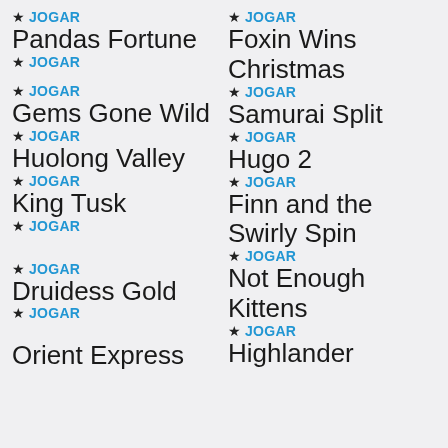★ JOGAR
Pandas Fortune
★ JOGAR
Foxin Wins Christmas
★ JOGAR
Gems Gone Wild
★ JOGAR
Samurai Split
★ JOGAR
Huolong Valley
★ JOGAR
Hugo 2
★ JOGAR
King Tusk
★ JOGAR
Finn and the Swirly Spin
★ JOGAR
Druidess Gold
★ JOGAR
Not Enough Kittens
★ JOGAR
Orient Express
★ JOGAR
Highlander